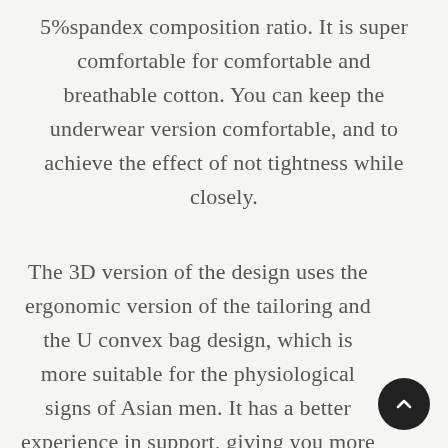5%spandex composition ratio. It is super comfortable for comfortable and breathable cotton. You can keep the underwear version comfortable, and to achieve the effect of not tightness while closely.
The 3D version of the design uses the ergonomic version of the tailoring and the U convex bag design, which is more suitable for the physiological signs of Asian men. It has a better experience in support, giving you more comfortable and free space. And in the workmanship, it is also a boutique in the